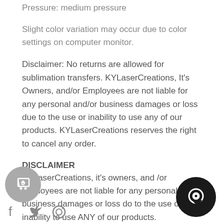Pressure: medium pressure
Slight color variation may occur due to color settings on computer monitor.
Disclaimer: No returns are allowed for sublimation transfers. KYLaserCreations, It's Owners, and/or Employees are not liable for any personal and/or business damages or loss due to the use or inability to use any of our products. KYLaserCreations reserves the right to cancel any order.
DISCLAIMER
KYLaserCreations, it's owners, and /or employees are not liable for any personal or business damages or loss do to the use or inability to use ANY of our products. KYLaserCreations reserves the right to cancel any sale.
[Figure (other): Shopping/cart icon in a grey circle, and social media icons (Facebook, Twitter, Pinterest) below it]
[Figure (other): Chat bubble icon in a dark/black circle on the right side]